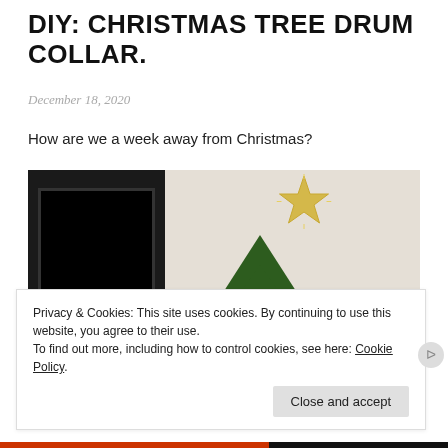DIY: CHRISTMAS TREE DRUM COLLAR.
December 18, 2020
How are we a week away from Christmas?
[Figure (photo): Photo of a decorated Christmas tree with a glitter star topper, plaid ribbon, and ornaments, next to a wall-mounted black TV. A green sign with the letter A is visible on the right side.]
Privacy & Cookies: This site uses cookies. By continuing to use this website, you agree to their use.
To find out more, including how to control cookies, see here: Cookie Policy